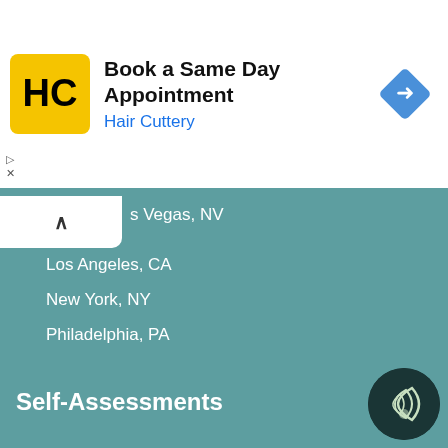[Figure (logo): Hair Cuttery advertisement banner with HC logo, text 'Book a Same Day Appointment / Hair Cuttery', and a blue diamond navigation arrow icon]
Las Vegas, NV
Los Angeles, CA
New York, NY
Philadelphia, PA
San Diego, CA
San Francisco, CA
Seattle, WA
Washington D.C.
Self-Assessments